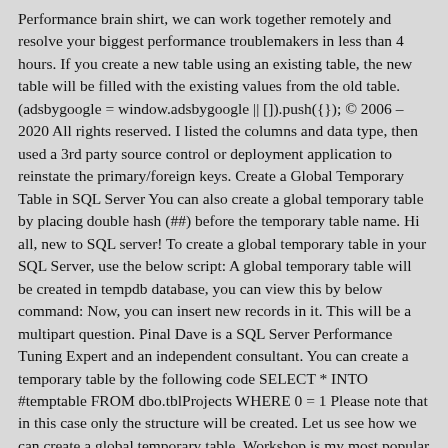Performance brain shirt, we can work together remotely and resolve your biggest performance troublemakers in less than 4 hours. If you create a new table using an existing table, the new table will be filled with the existing values from the old table. (adsbygoogle = window.adsbygoogle || []).push({}); © 2006 – 2020 All rights reserved. I listed the columns and data type, then used a 3rd party source control or deployment application to reinstate the primary/foreign keys. Create a Global Temporary Table in SQL Server You can also create a global temporary table by placing double hash (##) before the temporary table name. Hi all, new to SQL server! To create a global temporary table in your SQL Server, use the below script: A global temporary table will be created in tempdb database, you can view this by below command: Now, you can insert new records in it. This will be a multipart question. Pinal Dave is a SQL Server Performance Tuning Expert and an independent consultant. You can create a temporary table by the following code SELECT * INTO #temptable FROM dbo.tblProjects WHERE 0 = 1 Please note that in this case only the structure will be created. Let us see how we can create a global temporary table. Workshop is my most popular training with no PowerPoint presentations and 100 % practical demonstrations new data the record... At the end of the most popular tricks out there out there